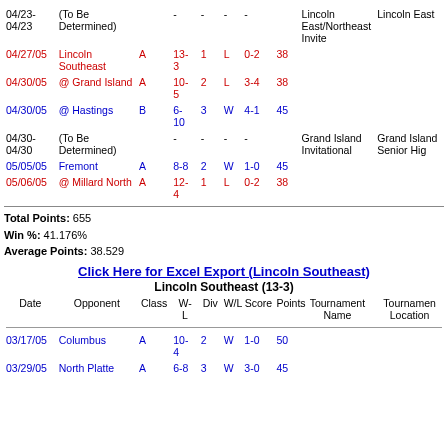| Date | Opponent | Class | W-L | Div | W/L | Score | Points | Tournament Name | Tournament Location |
| --- | --- | --- | --- | --- | --- | --- | --- | --- | --- |
| 04/23-04/23 | (To Be Determined) |  | - | - | - | - |  | Lincoln East/Northeast Invite | Lincoln East |
| 04/27/05 | Lincoln Southeast | A | 13-3 | 1 | L | 0-2 | 38 |  |  |
| 04/30/05 | @ Grand Island | A | 10-5 | 2 | L | 3-4 | 38 |  |  |
| 04/30/05 | @ Hastings | B | 6-10 | 3 | W | 4-1 | 45 |  |  |
| 04/30-04/30 | (To Be Determined) |  | - | - | - | - |  | Grand Island Invitational | Grand Island Senior Hig |
| 05/05/05 | Fremont | A | 8-8 | 2 | W | 1-0 | 45 |  |  |
| 05/06/05 | @ Millard North | A | 12-4 | 1 | L | 0-2 | 38 |  |  |
Total Points: 655
Win %: 41.176%
Average Points: 38.529
Click Here for Excel Export (Lincoln Southeast)
Lincoln Southeast (13-3)
| Date | Opponent | Class | W-L | Div | W/L | Score | Points | Tournament Name | Tournament Location |
| --- | --- | --- | --- | --- | --- | --- | --- | --- | --- |
| 03/17/05 | Columbus | A | 10-4 | 2 | W | 1-0 | 50 |  |  |
| 03/29/05 | North Platte | A | 6-8 | 3 | W | 3-0 | 45 |  |  |